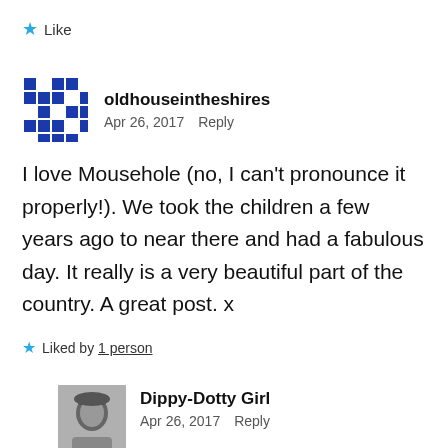★ Like
[Figure (illustration): Blue and white pixel/mosaic pattern avatar for oldhouseintheshires]
oldhouseintheshires
Apr 26, 2017  Reply
I love Mousehole (no, I can't pronounce it properly!). We took the children a few years ago to near there and had a fabulous day. It really is a very beautiful part of the country. A great post. x
★ Liked by 1 person
[Figure (photo): Black and white photo of a person (Dippy-Dotty Girl avatar)]
Dippy-Dotty Girl
Apr 26, 2017  Reply